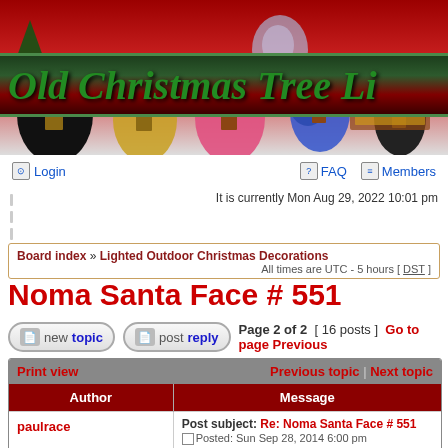[Figure (photo): Old Christmas Tree Lights forum banner with Christmas ornaments/bulbs image and decorative title text]
Login   FAQ   Members
It is currently Mon Aug 29, 2022 10:01 pm
Board index » Lighted Outdoor Christmas Decorations  All times are UTC - 5 hours [ DST ]
Noma Santa Face # 551
Page 2 of 2  [ 16 posts ]  Go to page Previous
| Author | Message |
| --- | --- |
| paulrace | Post subject: Re: Noma Santa Face # 551
Posted: Sun Sep 28, 2014 6:00 pm |